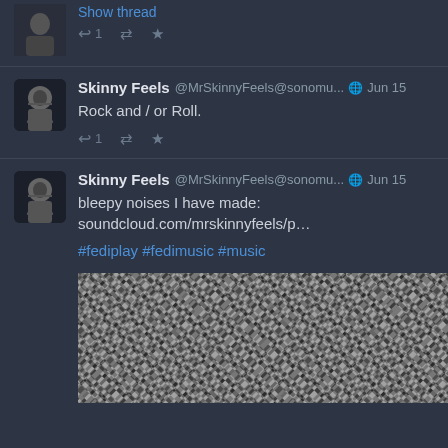Show thread
↩ 1  ⇄  ★
Skinny Feels @MrSkinnyFeels@sonomu... 🌐 Jun 15
Rock and / or Roll.
↩ 1  ⇄  ★
Skinny Feels @MrSkinnyFeels@sonomu... 🌐 Jun 15
bleepy noises I have made: soundcloud.com/mrskinnyfeels/p…

#fediplay #fedimusic #music
[Figure (photo): Black and white geometric woven/knitted pattern texture image]